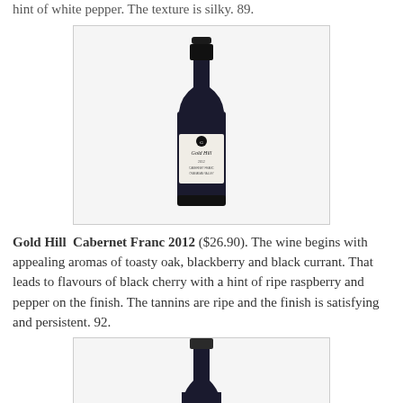hint of white pepper. The texture is silky. 89.
[Figure (photo): Gold Hill wine bottle photo showing a dark glass bottle with a white label reading 'Gold Hill']
Gold Hill  Cabernet Franc 2012 ($26.90). The wine begins with appealing aromas of toasty oak, blackberry and black currant. That leads to flavours of black cherry with a hint of ripe raspberry and pepper on the finish. The tannins are ripe and the finish is satisfying and persistent. 92.
[Figure (photo): Partial wine bottle photo showing the neck and top portion of a dark glass bottle]